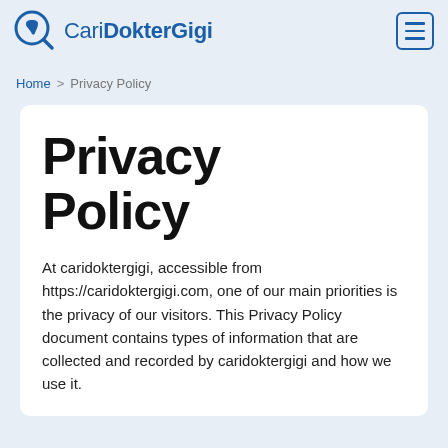CariDokterGigi
Home > Privacy Policy
Privacy Policy
At caridoktergigi, accessible from https://caridoktergigi.com, one of our main priorities is the privacy of our visitors. This Privacy Policy document contains types of information that are collected and recorded by caridoktergigi and how we use it.